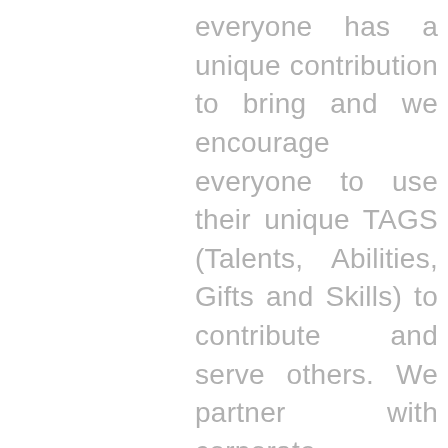everyone has a unique contribution to bring and we encourage everyone to use their unique TAGS (Talents, Abilities, Gifts and Skills) to contribute and serve others. We partner with corporate organisations who share our vision and mission of enabling people through the delivery of our flagship coaching programme: